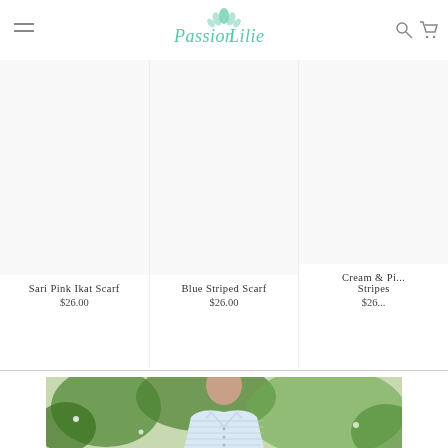Passion Lilie — navigation header with menu, logo, search and cart icons
Sari Pink Ikat Scarf
$26.00
Blue Striped Scarf
$26.00
Cream & Pi... Stripes
$26...
[Figure (photo): Man wearing a light blue striped button-up shirt with green foliage background]
[Figure (logo): Passion Lilie cursive logo with teal lotus flower graphic]